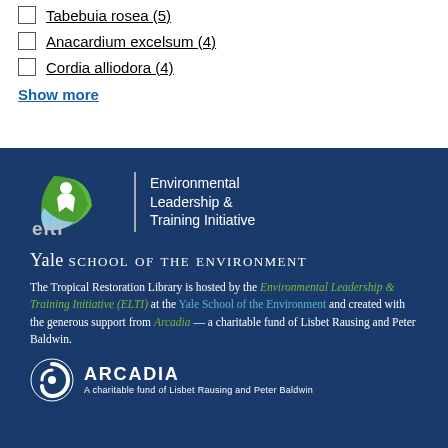Tabebuia rosea (5)
Anacardium excelsum (4)
Cordia alliodora (4)
Show more
[Figure (logo): ELTI logo — green leaf with white person figure, text 'elti' and 'Environmental Leadership & Training Initiative', vertical divider line]
Yale SCHOOL OF THE ENVIRONMENT
The Tropical Restoration Library is hosted by the Environmental Leadership & Training Initiative (ELTI) at the Yale School of the Environment and created with the generous support from Arcadia — a charitable fund of Lisbet Rausing and Peter Baldwin.
[Figure (logo): Arcadia logo — white circular swirl icon, text 'ARCADIA' in bold white capitals, subtitle 'A charitable fund of Lisbet Rausing and Peter Baldwin']